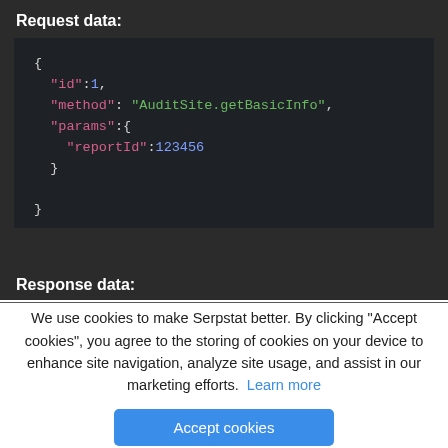Request data:
[Figure (screenshot): Dark code editor block showing JSON request data: {"id":1, "method": "AuditSite.getBasicInfo", "params":{ "reportId":123456 }}]
Response data:
We use cookies to make Serpstat better. By clicking "Accept cookies", you agree to the storing of cookies on your device to enhance site navigation, analyze site usage, and assist in our marketing efforts. Learn more
Accept cookies